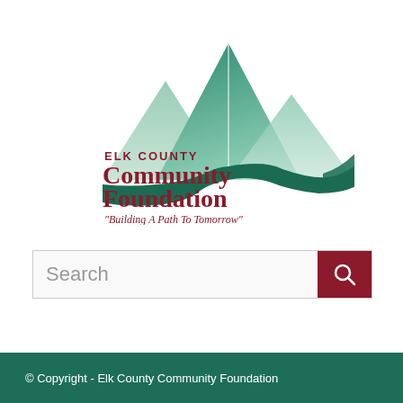[Figure (logo): Elk County Community Foundation logo with mountain peaks and winding path/river, text 'ELK COUNTY Community Foundation' and tagline 'Building A Path To Tomorrow']
Search
© Copyright - Elk County Community Foundation